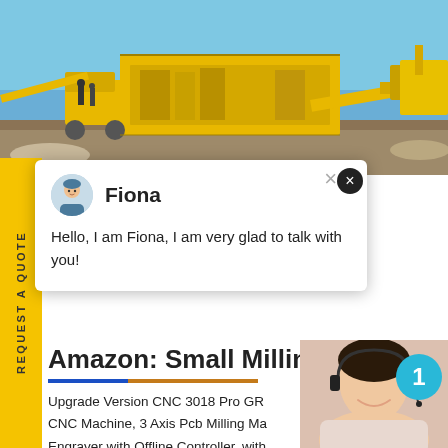[Figure (photo): Mining/quarry machinery site with large yellow crushers and conveyor equipment against a blue sky, with construction vehicles in background]
REQUEST A QUOTE
[Figure (screenshot): Chat popup with avatar of Fiona (female customer service representative icon), name 'Fiona', message 'Hello, I am Fiona, I am very glad to talk with you!', and close buttons]
Amazon: Small Milling M
Upgrade Version CNC 3018 Pro GR CNC Machine, 3 Axis Pcb Milling Ma Engraver with Offline Controller, with Extension Ba
[Figure (photo): Female customer service representative with headset smiling, with blue notification badge showing number 1, dark blue panel with text 'Have any requests, click here.' and orange Quotation button]